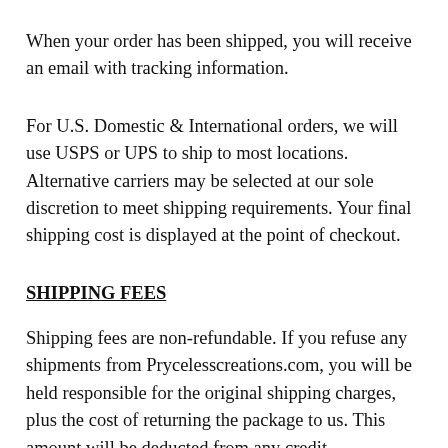When your order has been shipped, you will receive an email with tracking information.
For U.S. Domestic & International orders, we will use USPS or UPS to ship to most locations. Alternative carriers may be selected at our sole discretion to meet shipping requirements. Your final shipping cost is displayed at the point of checkout.
SHIPPING FEES
Shipping fees are non-refundable. If you refuse any shipments from Prycelesscreations.com, you will be held responsible for the original shipping charges, plus the cost of returning the package to us. This amount will be deducted from any credit